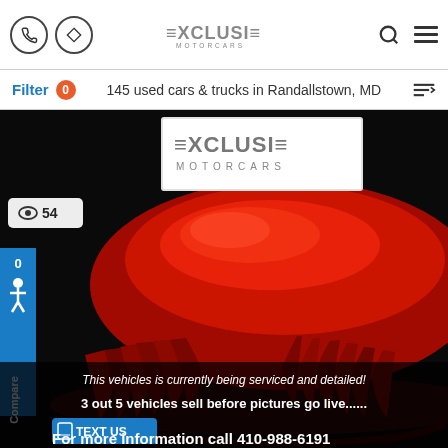Exclusive Motorcars — Navigation bar with phone, directions, logo, search and menu icons
Filter 0   145 used cars & trucks in Randallstown, MD
[Figure (photo): A red car covered with a red silk/fabric drape, displayed against a dark background, with Exclusive Motorcars dealer logo overlay at top center]
54 views
Compare 0
This vehicles is currently being serviced and detailed!
3 out 5 vehicles sell before pictures go live......
TEXT US   For more information call  410-988-6191